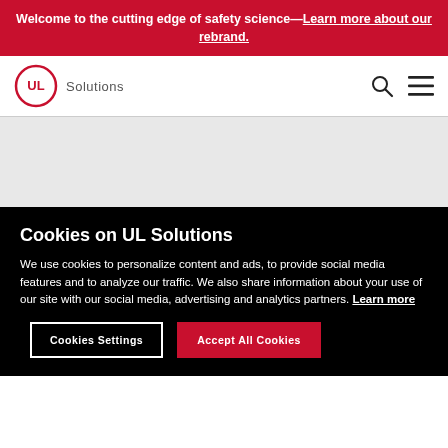Welcome to the cutting edge of safety science—Learn more about our rebrand.
[Figure (logo): UL Solutions logo with circular UL emblem and Solutions text]
Cookies on UL Solutions
We use cookies to personalize content and ads, to provide social media features and to analyze our traffic. We also share information about your use of our site with our social media, advertising and analytics partners. Learn more